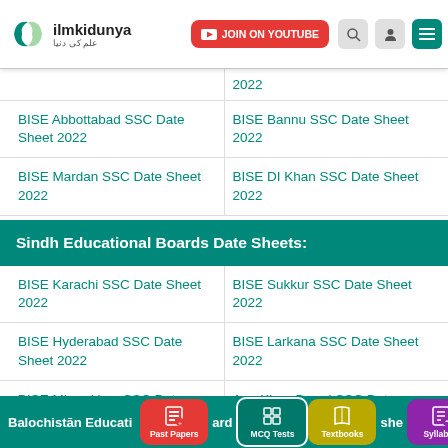ilmkidunya - JOIN ON YOUTUBE
BISE Abbottabad SSC Date Sheet 2022
BISE Bannu SSC Date Sheet 2022
BISE Mardan SSC Date Sheet 2022
BISE DI Khan SSC Date Sheet 2022
Sindh Educational Boards Date Sheets:
BISE Karachi SSC Date Sheet 2022
BISE Sukkur SSC Date Sheet 2022
BISE Hyderabad SSC Date Sheet 2022
BISE Larkana SSC Date Sheet 2022
BISE Mirpurkhas SSC Date Sheet 2022
Aga Khan Board SSC Date Sheet 2022
Past Papers  MCQ Tests  Textbooks  Syllabus